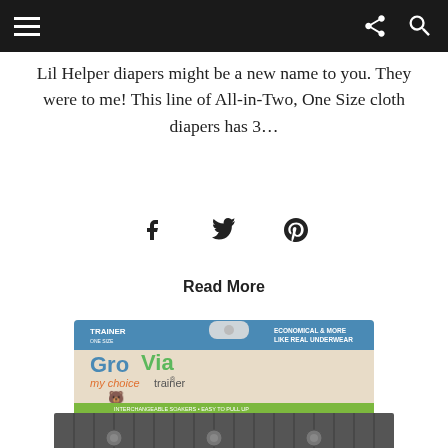Navigation header with hamburger menu, share icon, and search icon
Lil Helper diapers might be a new name to you. They were to me! This line of All-in-Two, One Size cloth diapers has 3…
Read More
[Figure (photo): GroVia My Choice Trainer product in packaging. Blue header reads 'TRAINER'. Green text says 'GroVia' with orange script 'my choice trainer'. Right side reads 'ECONOMICAL & MORE LIKE REAL UNDERWEAR'. A toddler is shown on the right side of the packaging. The gray trainer pant is visible below the packaging.]